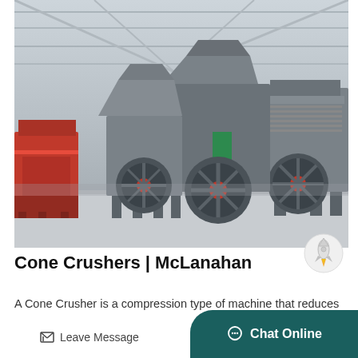[Figure (photo): Industrial warehouse interior showing multiple large cone crushers and impact crushers on a concrete floor. The machines are heavy grey industrial equipment with large flywheels featuring red accents. One machine on the far left is red/orange. The warehouse has a high metal roof structure with columns and skylights providing natural light.]
Cone Crushers | McLanahan
A Cone Crusher is a compression type of machine that reduces material by squeezing or compressing the feed material bet...